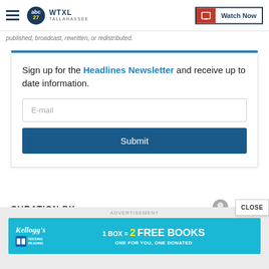WTXL TALLAHASSEE — Watch Now
published, broadcast, rewritten, or redistributed.
Sign up for the Headlines Newsletter and receive up to date information.
E-mail
Submit
CURATION BY
CLOSE
[Figure (other): Kellogg's Feeding Reading advertisement banner: 1 BOX = 2 FREE BOOKS, ONE FOR YOU, ONE DONATED]